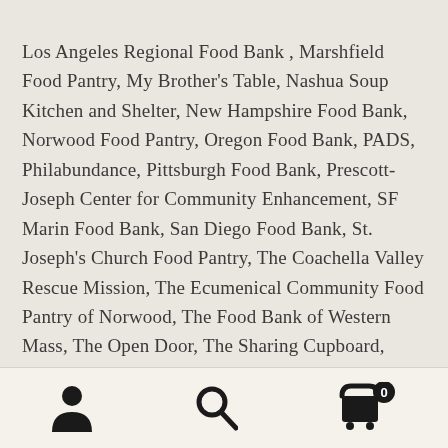Los Angeles Regional Food Bank , Marshfield Food Pantry, My Brother's Table, Nashua Soup Kitchen and Shelter, New Hampshire Food Bank, Norwood Food Pantry, Oregon Food Bank, PADS, Philabundance, Pittsburgh Food Bank, Prescott-Joseph Center for Community Enhancement, SF Marin Food Bank, San Diego Food Bank, St. Joseph's Church Food Pantry, The Coachella Valley Rescue Mission, The Ecumenical Community Food Pantry of Norwood, The Food Bank of Western Mass, The Open Door, The Sharing Cupboard, Toni's Kitchen, United Way of Tri-County, Utah Food Bank, Walpole Community Food Pantry, Wayside Food Programs, West Side Campaign Against Hunger, Westside Food Bank
Navigation bar with person, search, and cart icons